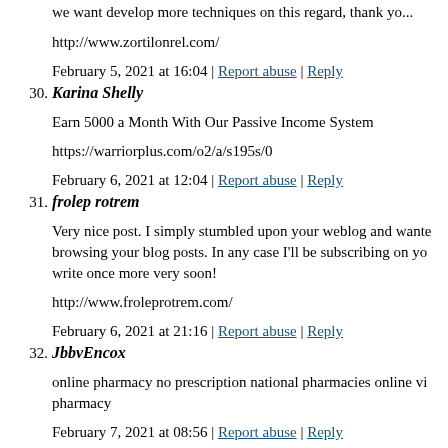we want develop more techniques on this regard, thank yo...
http://www.zortilonrel.com/
February 5, 2021 at 16:04 | Report abuse | Reply
30. Karina Shelly
Earn 5000 a Month With Our Passive Income System
https://warriorplus.com/o2/a/s195s/0
February 6, 2021 at 12:04 | Report abuse | Reply
31. frolep rotrem
Very nice post. I simply stumbled upon your weblog and wante... browsing your blog posts. In any case I'll be subscribing on yo... write once more very soon!
http://www.froleprotrem.com/
February 6, 2021 at 21:16 | Report abuse | Reply
32. JbbvEncox
online pharmacy no prescription national pharmacies online vi... pharmacy
February 7, 2021 at 08:56 | Report abuse | Reply